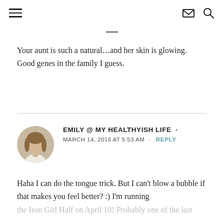≡  ✉ 🔍
Your aunt is such a natural…and her skin is glowing. Good genes in the family I guess.
EMILY @ MY HEALTHYISH LIFE · MARCH 14, 2016 AT 5:53 AM · REPLY
Haha I can do the tongue trick. But I can't blow a bubble if that makes you feel better? :) I'm running the Iron Girl Half on April 10! Probably one of the last